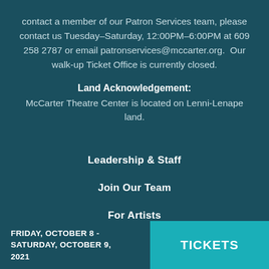contact a member of our Patron Services team, please contact us Tuesday–Saturday, 12:00PM–6:00PM at 609 258 2787 or email patronservices@mccarter.org.  Our walk-up Ticket Office is currently closed.
Land Acknowledgement:
McCarter Theatre Center is located on Lenni-Lenape land.
Leadership & Staff
Join Our Team
For Artists
Email Sign-Up
Press Releases
FRIDAY, OCTOBER 8 - SATURDAY, OCTOBER 9, 2021
TICKETS